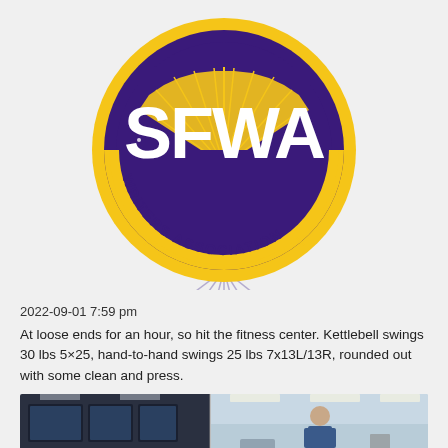[Figure (logo): SFWA Science Fiction and Fantasy Writers Association circular logo with purple background, gold ring, white bold text 'SFWA' and 'WRITERS ASSOCIATION' along the bottom arc, with a sunburst design in gold]
2022-09-01 7:59 pm
At loose ends for an hour, so hit the fitness center. Kettlebell swings 30 lbs 5×25, hand-to-hand swings 25 lbs 7x13L/13R, rounded out with some clean and press.
[Figure (photo): Photo strip showing a fitness center interior with screens/monitors and a person visible]